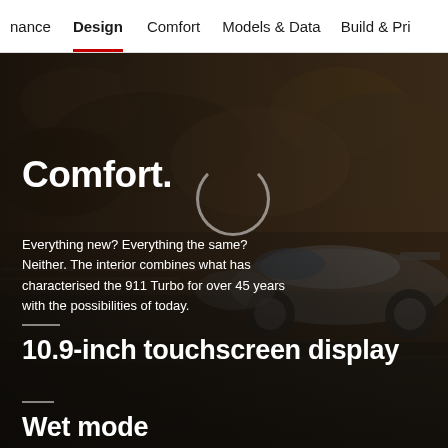nance  Design  Comfort  Models & Data  Build & Pri
[Figure (photo): Porsche 911 Turbo driving on a dusty/rocky road at speed, motion blur, dark moody background]
Comfort.
Everything new? Everything the same? Neither. The interior combines what has characterised the 911 Turbo for over 45 years with the possibilities of today.
10.9-inch touchscreen display
Wet mode